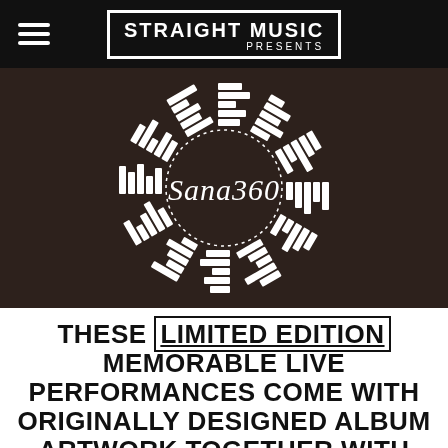STRAIGHT MUSIC PRESENTS
[Figure (logo): Sana360 circular logo with equalizer bar pattern forming a ring, white on dark brown background]
THESE LIMITED EDITION MEMORABLE LIVE PERFORMANCES COME WITH ORIGINALLY DESIGNED ALBUM ARTWORK TOGETHER WITH SPECIALLY CURATED MEMORABILIA INCLUDING...